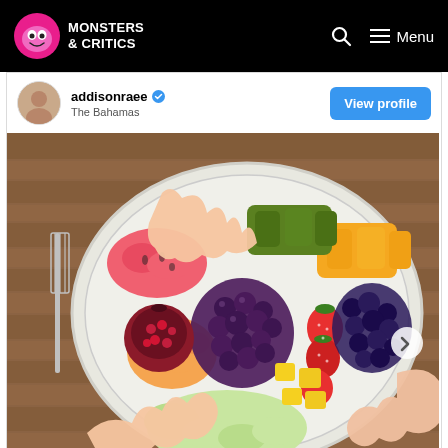Monsters & Critics
addisonraee • The Bahamas
View profile
[Figure (photo): Overhead view of a large white plate filled with colorful fruits including grapes, strawberries, pineapple, blueberries, watermelon, kiwi, mango, cantaloupe, honeydew melon, and a pomegranate. Multiple hands reaching in to grab fruit, placed on a wooden table with a fork visible on the left side.]